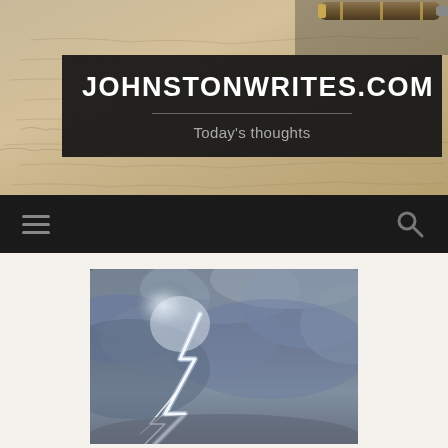[Figure (photo): Aged handwritten letter paper with a fountain pen resting on top, sepia tones, used as website header background]
JOHNSTONWRITES.COM
Today's thoughts
Navigation bar with hamburger menu icon and search icon
[Figure (photo): Dramatic lightning bolt striking down through dark storm clouds, blue-grey toned sky photography]